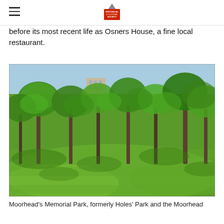Historical & Cultural Society logo with hamburger menu
before its most recent life as Osners House, a fine local restaurant.
[Figure (photo): A lush green park with mowed grass lawn, numerous trees with fresh spring foliage, dappled shadows on the ground, and a building visible in the background through the trees.]
Moorhead's Memorial Park, formerly Holes' Park and the Moorhead Zoo (2015)